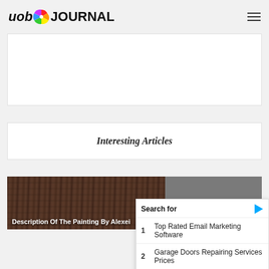uob JOURNAL
[Figure (other): White advertisement placeholder box]
Interesting Articles
[Figure (photo): Article card showing description of painting by Alexei, dark wood texture image with gray overlay]
Search for
1 Top Rated Email Marketing Software
2 Garage Doors Repairing Services Prices
Yahoo! Search | Sponsored